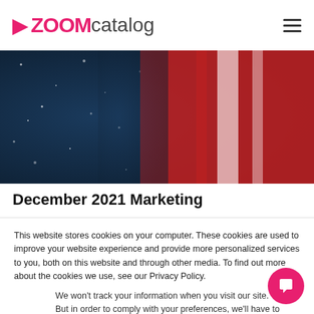[Figure (logo): ZoomCatalog logo with pink arrow and text]
[Figure (photo): Holiday shopping scene with red bags and striped scarf against dark blue snowy background]
December 2021 Marketing
This website stores cookies on your computer. These cookies are used to improve your website experience and provide more personalized services to you, both on this website and through other media. To find out more about the cookies we use, see our Privacy Policy.
We won't track your information when you visit our site. But in order to comply with your preferences, we'll have to use just one tiny cookie so that you're not asked to make this choice again.